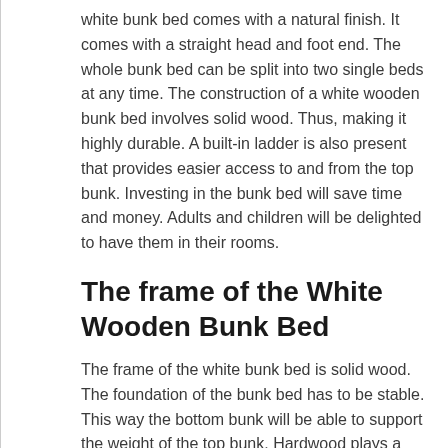white bunk bed comes with a natural finish. It comes with a straight head and foot end. The whole bunk bed can be split into two single beds at any time. The construction of a white wooden bunk bed involves solid wood. Thus, making it highly durable. A built-in ladder is also present that provides easier access to and from the top bunk. Investing in the bunk bed will save time and money. Adults and children will be delighted to have them in their rooms.
The frame of the White Wooden Bunk Bed
The frame of the white bunk bed is solid wood. The foundation of the bunk bed has to be stable. This way the bottom bunk will be able to support the weight of the top bunk. Hardwood plays a critical role in providing for such a feat. Customers will be happy to know that the